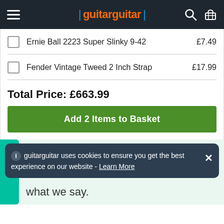guitarguitar
Ernie Ball 2223 Super Slinky 9-42   £7.49
Fender Vintage Tweed 2 Inch Strap   £17.99
Total Price: £663.99
Add 2 Items to Basket
guitarguitar uses cookies to ensure you get the best experience on our website - Learn More
what we say.